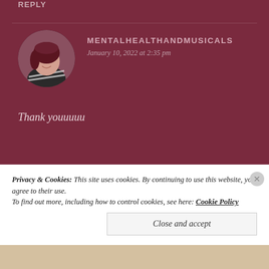REPLY
[Figure (photo): Circular avatar photo of a woman with short red/dark hair, wearing a black and white striped top, smiling.]
MENTALHEALTHANDMUSICALS
January 10, 2022 at 2:35 pm
Thank youuuuu
Liked by 1 person
REPLY
Privacy & Cookies: This site uses cookies. By continuing to use this website, you agree to their use.
To find out more, including how to control cookies, see here: Cookie Policy
Close and accept